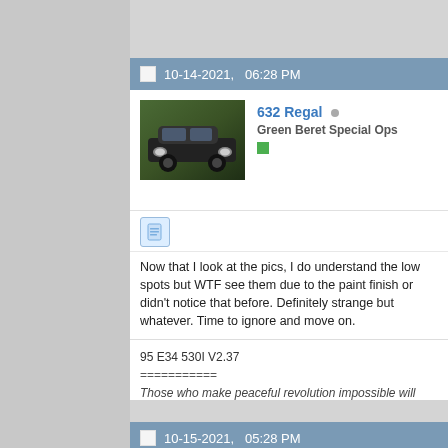10-14-2021, 06:28 PM
[Figure (photo): Avatar photo of a dark-colored BMW car, front view, parked outdoors with trees in background]
632 Regal
Green Beret Special Ops
[Figure (illustration): Document/note icon in blue]
Now that I look at the pics, I do understand the low spots but WTF see them due to the paint finish or didn't notice that before. Definitely strange but whatever. Time to ignore and move on.
95 E34 530I V2.37
===========
Those who make peaceful revolution impossible will make violent r

John F. Kennedy
10-15-2021, 05:28 PM